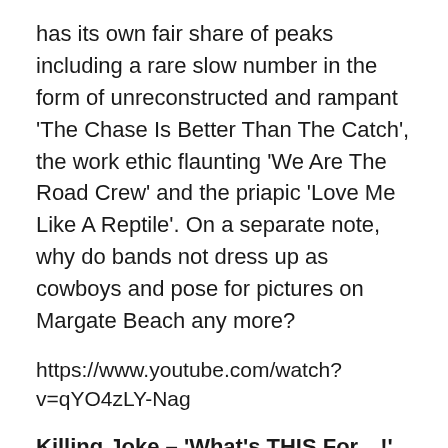has its own fair share of peaks including a rare slow number in the form of unreconstructed and rampant 'The Chase Is Better Than The Catch', the work ethic flaunting 'We Are The Road Crew' and the priapic 'Love Me Like A Reptile'. On a separate note, why do bands not dress up as cowboys and pose for pictures on Margate Beach any more?
https://www.youtube.com/watch?v=qYO4zLY-Nag
Killing Joke – 'What's THIS For…!' (1981)
While never True Metal, Killing Joke have been one of the most important influences on the genre over the last three decades, stamping their serrated tribal stomp all over Ministry, Nirvana, Metallica, Prong,